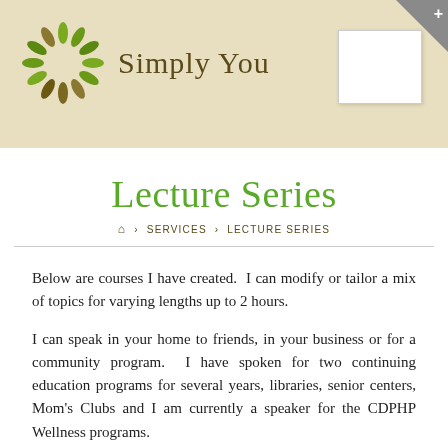Simply You
Lecture Series
⌂ > SERVICES > LECTURE SERIES
Below are courses I have created.  I can modify or tailor a mix of topics for varying lengths up to 2 hours.
I can speak in your home to friends, in your business or for a community program.  I have spoken for two continuing education programs for several years, libraries, senior centers, Mom's Clubs and I am currently a speaker for the CDPHP Wellness programs.